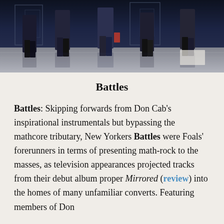[Figure (photo): Photograph of band members (Battles), shot from below showing legs and lower bodies against an urban backdrop, dark moody tones]
Battles
Battles: Skipping forwards from Don Cab's inspirational instrumentals but bypassing the mathcore tributary, New Yorkers Battles were Foals' forerunners in terms of presenting math-rock to the masses, as television appearances projected tracks from their debut album proper Mirrored (review) into the homes of many unfamiliar converts. Featuring members of Don